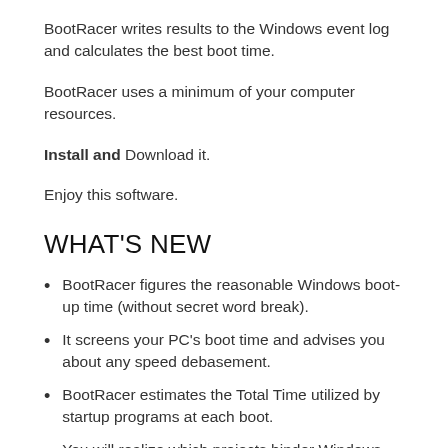BootRacer writes results to the Windows event log and calculates the best boot time.
BootRacer uses a minimum of your computer resources.
Install and Download it.
Enjoy this software.
WHAT'S NEW
BootRacer figures the reasonable Windows boot-up time (without secret word break).
It screens your PC's boot time and advises you about any speed debasement.
BootRacer estimates the Total Time utilized by startup programs at each boot.
You will realize which projects hinder Windows